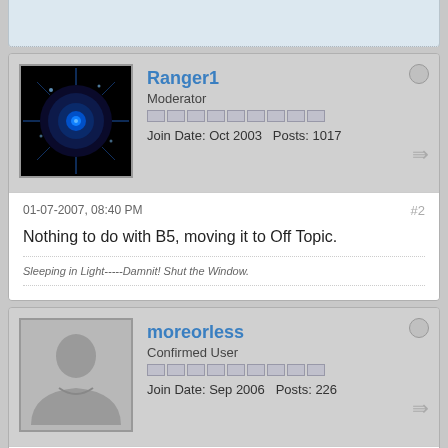[Figure (screenshot): Top stub of a previous forum post (partially visible, light blue background with dotted border)]
Ranger1
Moderator
Join Date: Oct 2003   Posts: 1017
[Figure (photo): Avatar image of Ranger1: blue glowing eye/vortex on black background]
01-07-2007, 08:40 PM
#2
Nothing to do with B5, moving it to Off Topic.
Sleeping in Light-----Damnit! Shut the Window.
moreorless
Confirmed User
Join Date: Sep 2006   Posts: 226
[Figure (illustration): Default avatar placeholder: grey silhouette of a person]
01-08-2007, 04:11 AM
#3
Some surprizingly good predictions of the problems the rest of the